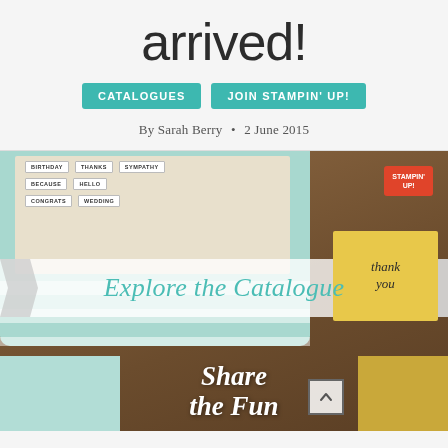arrived!
CATALOGUES
JOIN STAMPIN' UP!
By Sarah Berry • 2 June 2015
[Figure (photo): Stampin' Up catalogue photo showing a mint/teal striped tin box with card label tabs (BIRTHDAY, THANKS, SYMPATHY, BECAUSE, HELLO, CONGRATS, WEDDING), an 'Explore the Catalogue' banner overlay, Stampin' Up logo, thank you greeting cards, a butterfly embellishment, and 'Share the Fun' text at the bottom on a brown wooden surface.]